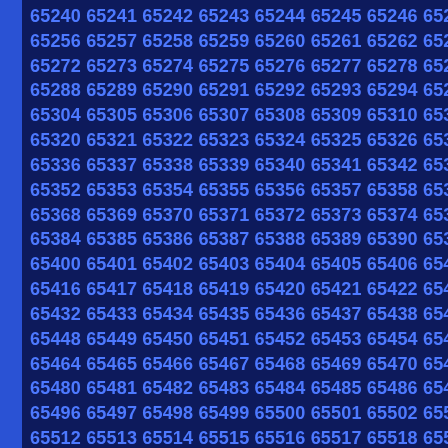65240 65241 65242 65243 65244 65245 65246 65247 65248 65249 65250...
Sequential numbers from 65240 to 65537+ arranged in rows of 10, incrementing by 16 per row